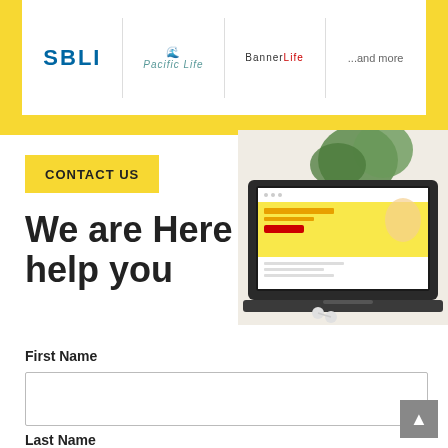[Figure (logo): Insurance company logos: SBLI, Pacific Life, Banner Life, and '...and more' text in a white bar on yellow background]
CONTACT US
We are Here to help you
[Figure (screenshot): Laptop with insurance website screenshot, plant and orange drink in background]
First Name
Last Name